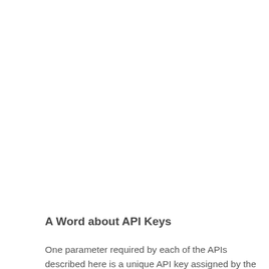A Word about API Keys
One parameter required by each of the APIs described here is a unique API key assigned by the API provider. The API key identifies and authenticates